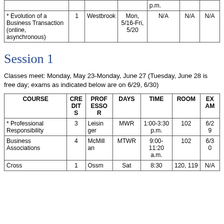| COURSE | CREDITS | PROFESSOR | DAYS | TIME | ROOM | EXAM |
| --- | --- | --- | --- | --- | --- | --- |
|  |  |  |  | p.m. |  |  |
| * Evolution of a Business Transaction (online, asynchronous) | 1 | Westbrook | Mon, 5/16-Fri, 5/20 | N/A | N/A | N/A |
Session 1
Classes meet: Monday, May 23-Monday, June 27 (Tuesday, June 28 is free day; exams as indicated below are on 6/29, 6/30)
| COURSE | CREDITS | PROFESSOR | DAYS | TIME | ROOM | EXAM |
| --- | --- | --- | --- | --- | --- | --- |
| * Professional Responsibility | 3 | Leisinger | MWR | 1:00-3:30 p.m. | 102 | 6/29 |
| Business Associations | 4 | McMillan | MTWR | 9:00-11:20 a.m. | 102 | 6/30 |
| Cross | 1 | Ossm | Sat | 8:30 | 120, 119 | N/A |